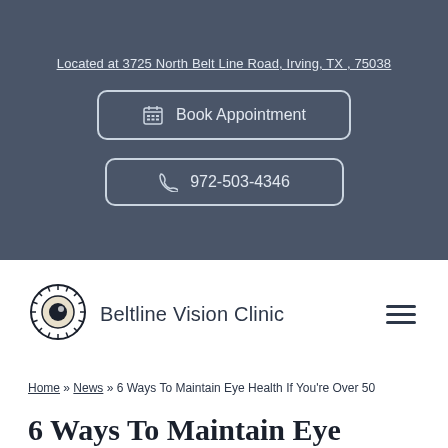Located at 3725 North Belt Line Road, Irving, TX , 75038
Book Appointment
972-503-4346
[Figure (logo): Beltline Vision Clinic eye logo — circular emblem with an eye/sun design]
Beltline Vision Clinic
Home » News » 6 Ways To Maintain Eye Health If You're Over 50
6 Ways To Maintain Eye Health